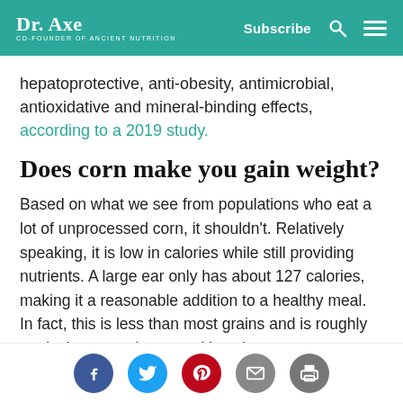Dr. Axe | Co-Founder of Ancient Nutrition | Subscribe
hepatoprotective, anti-obesity, antimicrobial, antioxidative and mineral-binding effects, according to a 2019 study.
Does corn make you gain weight?
Based on what we see from populations who eat a lot of unprocessed corn, it shouldn't. Relatively speaking, it is low in calories while still providing nutrients. A large ear only has about 127 calories, making it a reasonable addition to a healthy meal. In fact, this is less than most grains and is roughly equivalent to eating a nutritious banana, except
[Figure (infographic): Social sharing icons: Facebook (blue circle), Twitter (teal circle), Pinterest (red circle), Email (grey circle), Print (grey circle)]